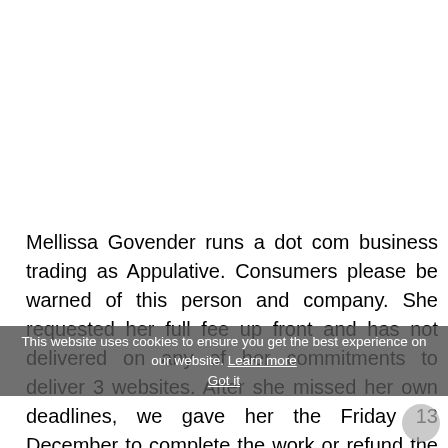Mellissa Govender runs a dot com business trading as Appulative. Consumers please be warned of this person and company. She requested her full fee up front and has not delivered on any of her commitments to deliver 3 websites. After she missed her own deadlines, we gave her the Friday 13 December to complete the work or refund the total amount we paid upfront. She promised faithfully to honour this, but is still making empty promises. We are now pursuing to lay criminal charges of against this company on behalf of our US donors (we are a non-